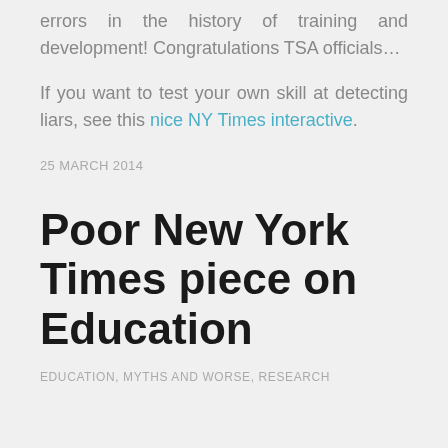errors in the history of training and development! Congratulations TSA officials…
If you want to test your own skill at detecting liars, see this nice NY Times interactive.
25 MARCH 2014
Poor New York Times piece on Education
EDUCATION, MYTHS AND WORSE, RESEARCH